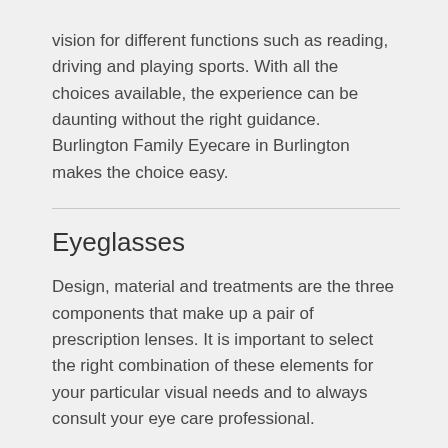vision for different functions such as reading, driving and playing sports. With all the choices available, the experience can be daunting without the right guidance. Burlington Family Eyecare in Burlington makes the choice easy.
Eyeglasses
Design, material and treatments are the three components that make up a pair of prescription lenses. It is important to select the right combination of these elements for your particular visual needs and to always consult your eye care professional.
The knowledgeable staff at Burlington Family Eyecare will consider long-term wearing comfort, style, features and function when suggesting a new pair of eyeglasses. The eyeglasses become as unique as the person taking them.